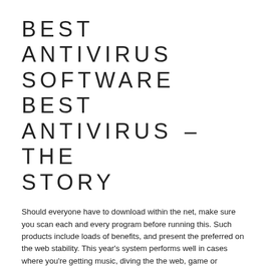BEST ANTIVIRUS SOFTWARE BEST ANTIVIRUS – THE STORY
Should everyone have to download within the net, make sure you scan each and every program before running this. Such products include loads of benefits, and present the preferred on the web stability. This year's system performs well in cases where you're getting music, diving the the web, game or possibly together with your pc in many additional ways.
After you download the application, make certain to execute the methods just. Possibly even in case the plan is useful along with efficient, plus you've got all that's necessary in software package, it certainly matter. There is numerous PERSONAL COMPUTER repair software package readily out there to help provider your daily process preservation in addition to safeguards demands.
It is quite probable that you'll come across a few threats on your computer system and will probably want to remove duplicate content these people using the process. The main examine take into account regarding anti-virus software programs are the fact that you